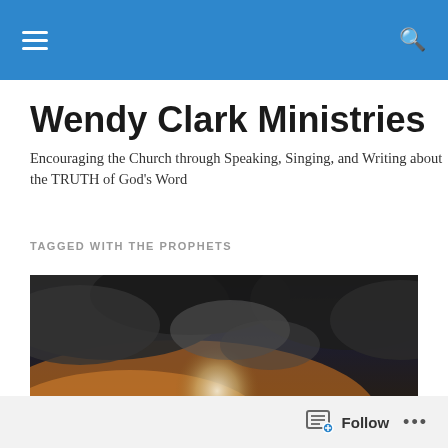Wendy Clark Ministries – navigation bar with hamburger menu and search icon
Wendy Clark Ministries
Encouraging the Church through Speaking, Singing, and Writing about the TRUTH of God's Word
TAGGED WITH THE PROPHETS
[Figure (photo): Dramatic sky photograph with dark storm clouds and rays of light breaking through, warm orange glow at the bottom left.]
Follow ...